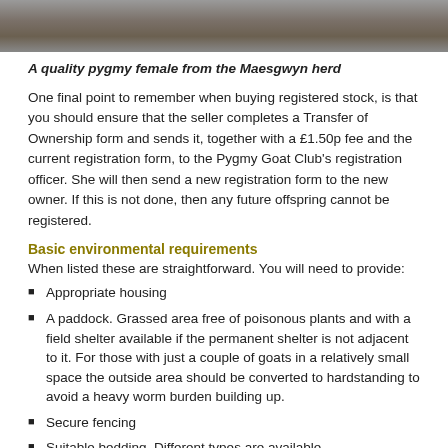[Figure (photo): Partial view of a pygmy goat, cropped photo showing lower body against a grey ground surface]
A quality pygmy female from the Maesgwyn herd
One final point to remember when buying registered stock, is that you should ensure that the seller completes a Transfer of Ownership form and sends it, together with a £1.50p fee and the current registration form, to the Pygmy Goat Club's registration officer. She will then send a new registration form to the new owner. If this is not done, then any future offspring cannot be registered.
Basic environmental requirements
When listed these are straightforward. You will need to provide:
Appropriate housing
A paddock. Grassed area free of poisonous plants and with a field shelter available if the permanent shelter is not adjacent to it. For those with just a couple of goats in a relatively small space the outside area should be converted to hardstanding to avoid a heavy worm burden building up.
Secure fencing
Suitable bedding. Different types are available.
An area of hard standing adjacent to both the field and permanent shelter.